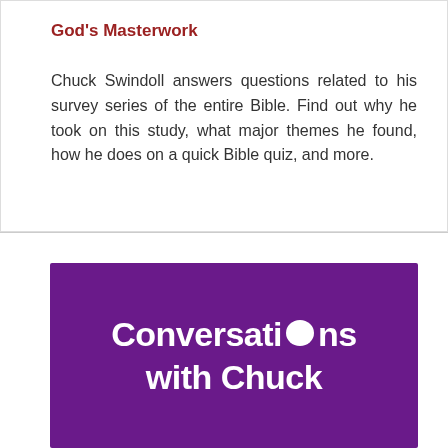God's Masterwork
Chuck Swindoll answers questions related to his survey series of the entire Bible. Find out why he took on this study, what major themes he found, how he does on a quick Bible quiz, and more.
[Figure (logo): Purple background logo reading 'Conversations with Chuck' with a speech bubble replacing the letter 'o' in Conversations]